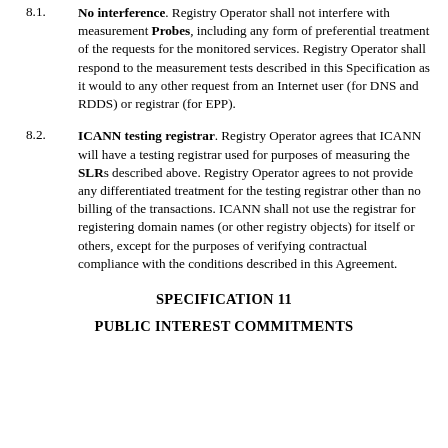8.1. No interference. Registry Operator shall not interfere with measurement Probes, including any form of preferential treatment of the requests for the monitored services. Registry Operator shall respond to the measurement tests described in this Specification as it would to any other request from an Internet user (for DNS and RDDS) or registrar (for EPP).
8.2. ICANN testing registrar. Registry Operator agrees that ICANN will have a testing registrar used for purposes of measuring the SLRs described above. Registry Operator agrees to not provide any differentiated treatment for the testing registrar other than no billing of the transactions. ICANN shall not use the registrar for registering domain names (or other registry objects) for itself or others, except for the purposes of verifying contractual compliance with the conditions described in this Agreement.
SPECIFICATION 11
PUBLIC INTEREST COMMITMENTS